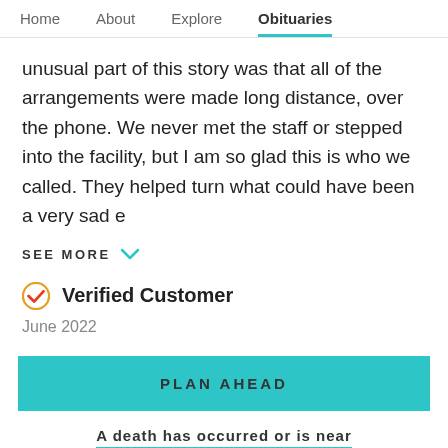Home   About   Explore   Obituaries
unusual part of this story was that all of the arrangements were made long distance, over the phone. We never met the staff or stepped into the facility, but I am so glad this is who we called. They helped turn what could have been a very sad e
SEE MORE
Verified Customer
June 2022
PLAN AHEAD
A death has occurred or is near